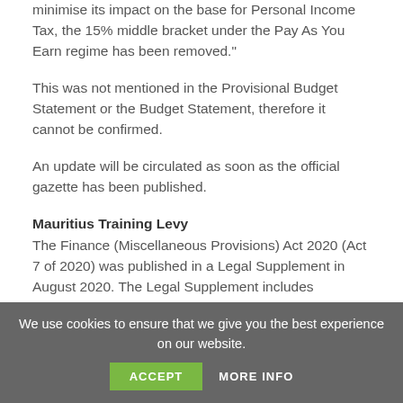minimise its impact on the base for Personal Income Tax, the 15% middle bracket under the Pay As You Earn regime has been removed."
This was not mentioned in the Provisional Budget Statement or the Budget Statement, therefore it cannot be confirmed.
An update will be circulated as soon as the official gazette has been published.
Mauritius Training Levy
The Finance (Miscellaneous Provisions) Act 2020 (Act 7 of 2020) was published in a Legal Supplement in August 2020. The Legal Supplement includes amendments to various Acts, such as the Income Tax Act and the National
We use cookies to ensure that we give you the best experience on our website.